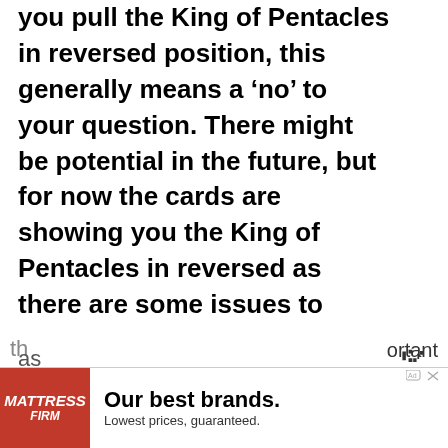you pull the King of Pentacles in reversed position, this generally means a ‘no’ to your question. There might be potential in the future, but for now the cards are showing you the King of Pentacles in reversed as there are some issues to work on first.
As the King of Pentacles is all about wealth, success and abundance, this showing itself in reverse can be a sign
[Figure (other): Like/heart button (blue circle with heart icon), share button, and 'What's Next' widget with avatar thumbnail and text 'Is The Knight Of Pentacles...']
[Figure (other): Mattress Firm advertisement banner: red logo on left with 'MATTRESS FIRM', headline 'Our best brands. Lowest prices, guaranteed.']